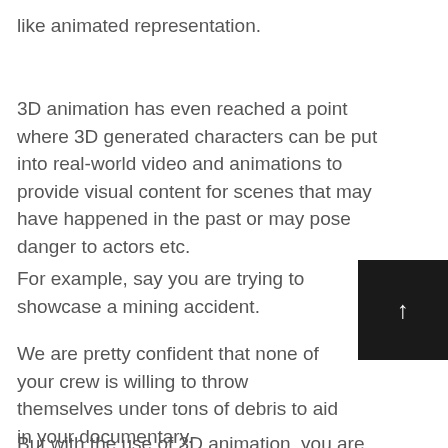like animated representation.
3D animation has even reached a point where 3D generated characters can be put into real-world video and animations to provide visual content for scenes that may have happened in the past or may pose danger to actors etc.
For example, say you are trying to showcase a mining accident.
We are pretty confident that none of your crew is willing to throw themselves under tons of debris to aid in your documentary.
But with the use of 3D animation, you are able to simulate such an accident without